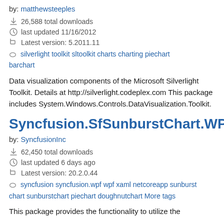by: matthewsteeples
26,588 total downloads
last updated 11/16/2012
Latest version: 5.2011.11
silverlight toolkit sltoolkit charts charting piechart barchart
Data visualization components of the Microsoft Silverlight Toolkit. Details at http://silverlight.codeplex.com This package includes System.Windows.Controls.DataVisualization.Toolkit.
Syncfusion.SfSunburstChart.WPF
by: SyncfusionInc
62,450 total downloads
last updated 6 days ago
Latest version: 20.2.0.44
syncfusion syncfusion.wpf wpf xaml netcoreapp sunburst chart sunburstchart piechart doughnutchart More tags
This package provides the functionality to utilize the